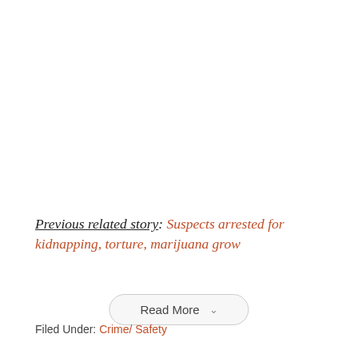Previous related story: Suspects arrested for kidnapping, torture, marijuana grow
Read More
Filed Under: Crime/ Safety